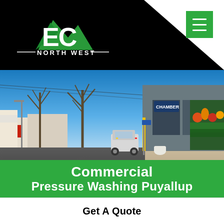[Figure (logo): EC Northwest logo with mountain peaks graphic on black background header]
[Figure (photo): Street-level photo of a commercial district showing a road with crosswalk markings, parked pickup truck, leafless trees, and storefronts including a Chamber of Commerce building with large windows and a colorful produce display on a clear sunny day]
Commercial Pressure Washing Puyallup
Get A Quote